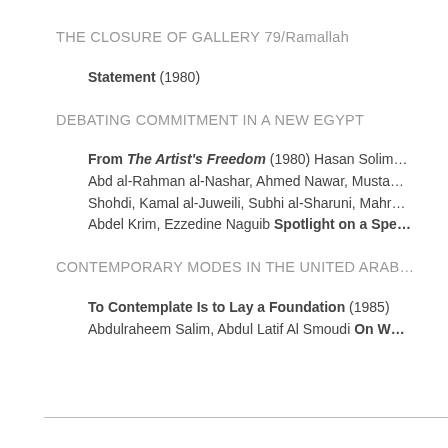THE CLOSURE OF GALLERY 79/Ramallah
Statement (1980)
DEBATING COMMITMENT IN A NEW EGYPT
From The Artist's Freedom (1980) Hasan Solim… Abd al-Rahman al-Nashar, Ahmed Nawar, Musta… Shohdi, Kamal al-Juweili, Subhi al-Sharuni, Mahr… Abdel Krim, Ezzedine Naguib Spotlight on a Spe…
CONTEMPORARY MODES IN THE UNITED ARAB…
To Contemplate Is to Lay a Foundation (1985) Abdulraheem Salim, Abdul Latif Al Smoudi On W…